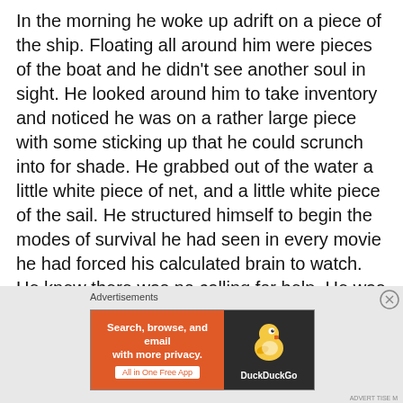In the morning he woke up adrift on a piece of the ship. Floating all around him were pieces of the boat and he didn't see another soul in sight. He looked around him to take inventory and noticed he was on a rather large piece with some sticking up that he could scrunch into for shade. He grabbed out of the water a little white piece of net, and a little white piece of the sail. He structured himself to begin the modes of survival he had seen in every movie he had forced his calculated brain to watch. He knew there was no calling for help. He was alone at sea.
[Figure (other): DuckDuckGo advertisement banner: orange left panel with text 'Search, browse, and email with more privacy. All in One Free App' and dark right panel with DuckDuckGo duck logo and brand name.]